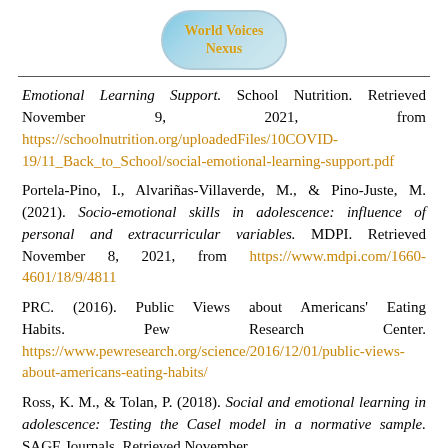[Figure (logo): World Voices Nexus logo — oval globe-style badge with yellow bold text 'World Voices Nexus' on a blue background]
Emotional Learning Support. School Nutrition. Retrieved November 9, 2021, from https://schoolnutrition.org/uploadedFiles/10COVID-19/11_Back_to_School/social-emotional-learning-support.pdf
Portela-Pino, I., Alvariñas-Villaverde, M., & Pino-Juste, M. (2021). Socio-emotional skills in adolescence: influence of personal and extracurricular variables. MDPI. Retrieved November 8, 2021, from https://www.mdpi.com/1660-4601/18/9/4811
PRC. (2016). Public Views about Americans' Eating Habits. Pew Research Center. https://www.pewresearch.org/science/2016/12/01/public-views-about-americans-eating-habits/
Ross, K. M., & Tolan, P. (2018). Social and emotional learning in adolescence: Testing the Casel model in a normative sample. SAGE Journals. Retrieved November